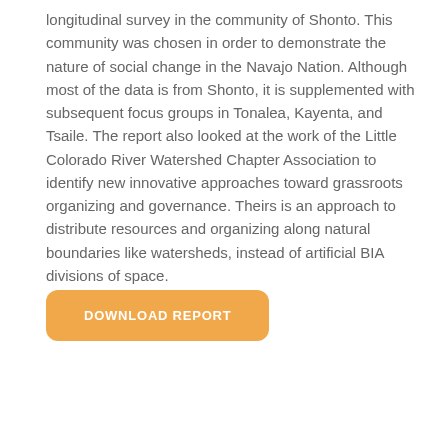longitudinal survey in the community of Shonto. This community was chosen in order to demonstrate the nature of social change in the Navajo Nation. Although most of the data is from Shonto, it is supplemented with subsequent focus groups in Tonalea, Kayenta, and Tsaile. The report also looked at the work of the Little Colorado River Watershed Chapter Association to identify new innovative approaches toward grassroots organizing and governance. Theirs is an approach to distribute resources and organizing along natural boundaries like watersheds, instead of artificial BIA divisions of space.
DOWNLOAD REPORT